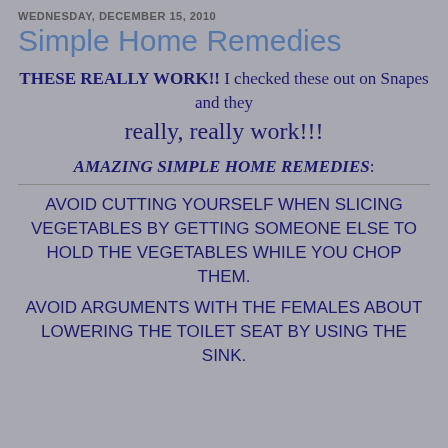WEDNESDAY, DECEMBER 15, 2010
Simple Home Remedies
THESE REALLY WORK!! I checked these out on Snapes and they really, really work!!!
AMAZING SIMPLE HOME REMEDIES:
AVOID CUTTING YOURSELF WHEN SLICING VEGETABLES BY GETTING SOMEONE ELSE TO HOLD THE VEGETABLES WHILE YOU CHOP THEM.
AVOID ARGUMENTS WITH THE FEMALES ABOUT LOWERING THE TOILET SEAT BY USING THE SINK.